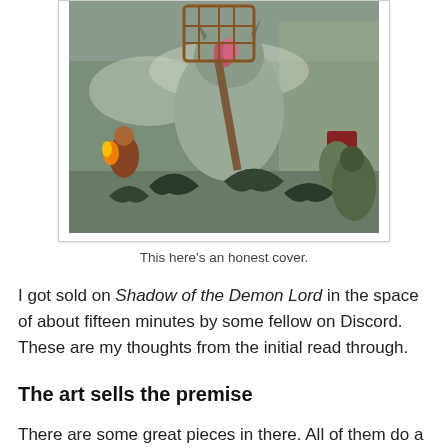[Figure (illustration): Fantasy artwork showing a massive, grotesque demon lord creature wielding a hammer with a cage on top, surrounded by smaller figures including bat-like creatures in the foreground and a warrior with fire on the left. Dark, painterly style.]
This here's an honest cover.
I got sold on Shadow of the Demon Lord in the space of about fifteen minutes by some fellow on Discord. These are my thoughts from the initial read through.
The art sells the premise
There are some great pieces in there. All of them do a good